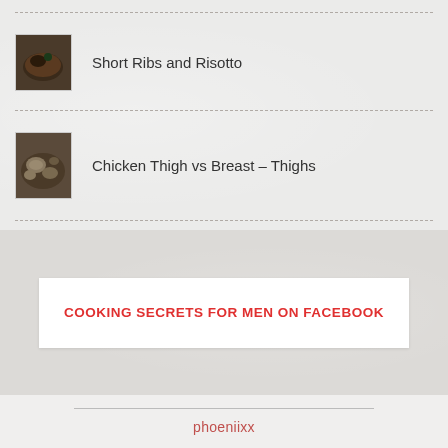Short Ribs and Risotto
[Figure (photo): Thumbnail photo of short ribs and risotto dish]
Chicken Thigh vs Breast – Thighs
[Figure (photo): Thumbnail photo of chicken thigh dish]
COOKING SECRETS FOR MEN ON FACEBOOK
phoeniixx